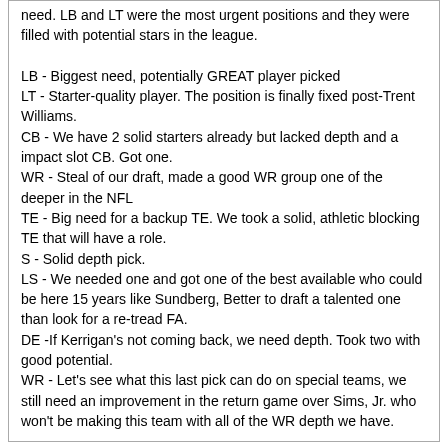need. LB and LT were the most urgent positions and they were filled with potential stars in the league.

LB - Biggest need, potentially GREAT player picked
LT - Starter-quality player. The position is finally fixed post-Trent Williams.
CB - We have 2 solid starters already but lacked depth and a impact slot CB. Got one.
WR - Steal of our draft, made a good WR group one of the deeper in the NFL
TE - Big need for a backup TE. We took a solid, athletic blocking TE that will have a role.
S - Solid depth pick.
LS - We needed one and got one of the best available who could be here 15 years like Sundberg, Better to draft a talented one than look for a re-tread FA.
DE -If Kerrigan's not coming back, we need depth. Took two with good potential.
WR - Let's see what this last pick can do on special teams, we still need an improvement in the return game over Sims, Jr. who won't be making this team with all of the WR depth we have.
CRedskinsRule
05-03-2021 10:38 AM
Re: Post draft breakdown